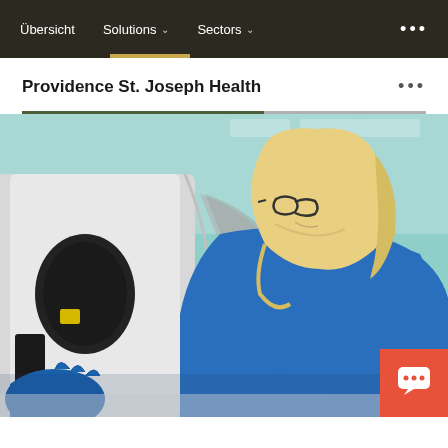Übersicht   Solutions ∨   Sectors ∨   •••
Providence St. Joseph Health
[Figure (photo): A blonde woman wearing glasses and a blue top, leaning over medical equipment (appears to be an MRI or CT scanner) in a clinical setting. She is wearing a blue glove and appears to be working with the machine.]